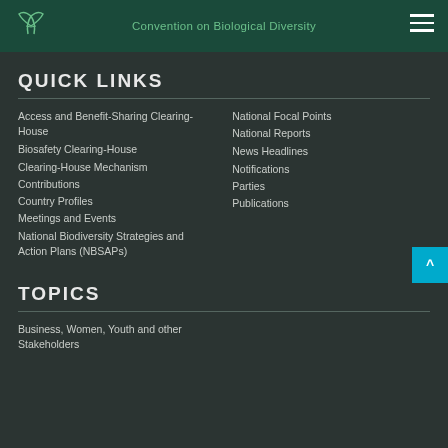Convention on Biological Diversity
QUICK LINKS
Access and Benefit-Sharing Clearing-House
Biosafety Clearing-House
Clearing-House Mechanism
Contributions
Country Profiles
Meetings and Events
National Biodiversity Strategies and Action Plans (NBSAPs)
National Focal Points
National Reports
News Headlines
Notifications
Parties
Publications
TOPICS
Business, Women, Youth and other Stakeholders